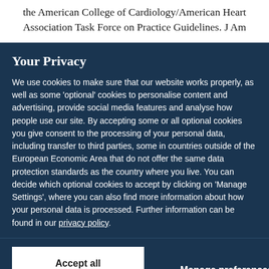the American College of Cardiology/American Heart Association Task Force on Practice Guidelines. J Am
Your Privacy
We use cookies to make sure that our website works properly, as well as some 'optional' cookies to personalise content and advertising, provide social media features and analyse how people use our site. By accepting some or all optional cookies you give consent to the processing of your personal data, including transfer to third parties, some in countries outside of the European Economic Area that do not offer the same data protection standards as the country where you live. You can decide which optional cookies to accept by clicking on 'Manage Settings', where you can also find more information about how your personal data is processed. Further information can be found in our privacy policy.
Accept all cookies
Manage preferences